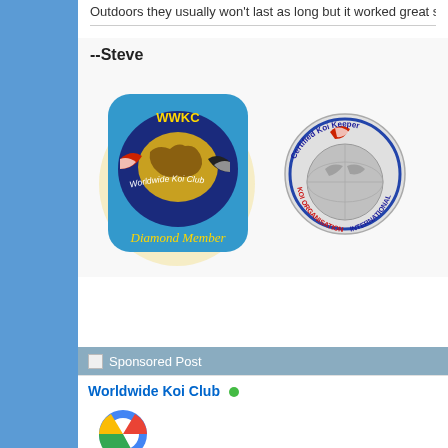Outdoors they usually won't last as long but it worked great short t…
--Steve
[Figure (logo): WWKC Worldwide Koi Club Diamond Member badge - blue rounded square with koi fish and world map, gold text]
[Figure (logo): Certified Koi Keeper KOI ORGANISATION INTERNATIONAL circular badge with globe and koi fish]
Sponsored Post
Worldwide Koi Club
[Figure (logo): Google logo partial view]